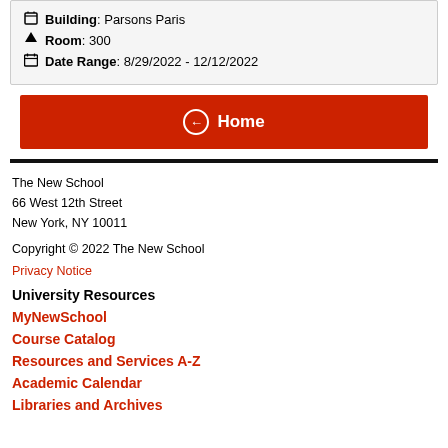Building: Parsons Paris
Room: 300
Date Range: 8/29/2022 - 12/12/2022
Home
The New School
66 West 12th Street
New York, NY 10011
Copyright © 2022 The New School
Privacy Notice
University Resources
MyNewSchool
Course Catalog
Resources and Services A-Z
Academic Calendar
Libraries and Archives